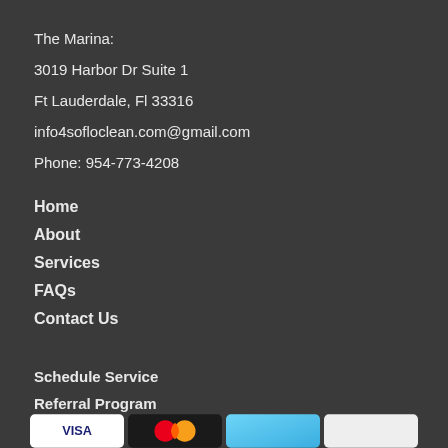The Marina:
3019 Harbor Dr Suite 1
Ft Lauderdale, Fl 33316
info4sofloclean.com@gmail.com
Phone: 954-773-4208
Home
About
Services
FAQs
Contact Us
Schedule Service
Referral Program
[Figure (other): Four payment method card logos at the bottom: Visa (white), Mastercard (black with red/orange/yellow circles), a blue card, and a white card]